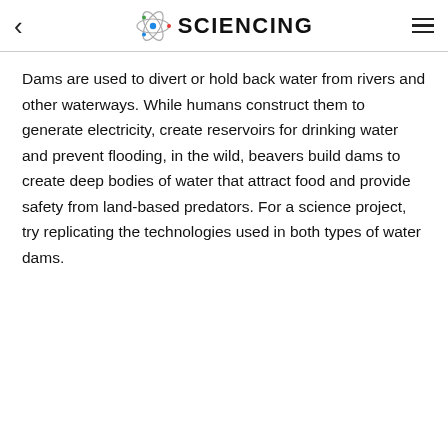SCIENCING
Dams are used to divert or hold back water from rivers and other waterways. While humans construct them to generate electricity, create reservoirs for drinking water and prevent flooding, in the wild, beavers build dams to create deep bodies of water that attract food and provide safety from land-based predators. For a science project, try replicating the technologies used in both types of water dams.